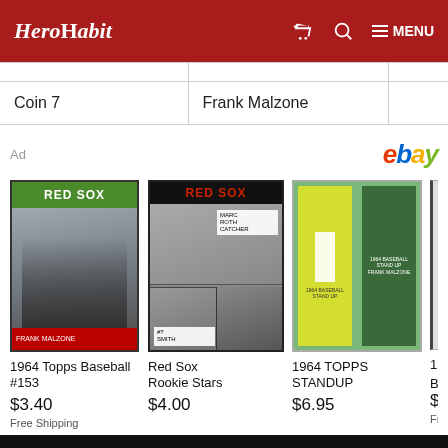HeroHabit — MENU
| Coin 7 | Frank Malzone |  |
[Figure (infographic): eBay advertisement showing four baseball card listings: 1964 Topps Baseball #153 $3.40 Free Shipping, Red Sox Rookie Stars $4.00, 1964 TOPPS STANDUP $6.95, and a partially visible fourth card]
1964 Topps Baseball #153
$3.40
Free Shipping
Red Sox Rookie Stars
$4.00
1964 TOPPS STANDUP
$6.95
196...
Ba...
$3...
Fre...
Reds